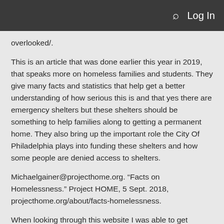Log In
overlooked/.
This is an article that was done earlier this year in 2019, that speaks more on homeless families and students. They give many facts and statistics that help get a better understanding of how serious this is and that yes there are emergency shelters but these shelters should be something to help families along to getting a permanent home. They also bring up the important role the City Of Philadelphia plays into funding these shelters and how some people are denied access to shelters.
Michaelgainer@projecthome.org. “Facts on Homelessness.” Project HOME, 5 Sept. 2018, projecthome.org/about/facts-homelessness.
When looking through this website I was able to get